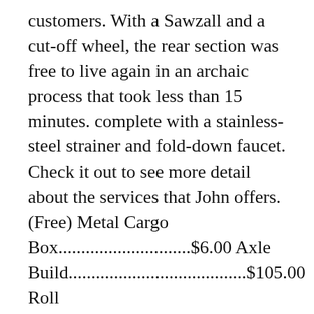customers. With a Sawzall and a cut-off wheel, the rear section was free to live again in an archaic process that took less than 15 minutes. complete with a stainless-steel strainer and fold-down faucet. Check it out to see more detail about the services that John offers. (Free) Metal Cargo Box.............................$6.00 Axle Build.......................................$105.00 Roll Cage.........................................$96.00 Tires&wheels (used).........................$55.00 Water Tank.......................................$44.00 Water Pump....................................$65.00 Shower Head ...............................$37.00 Pintal Hitch.....................................$70.00 Solar Panel (100 watt) yard sale.....$15.00 Solar charge controller............$50.00 Electrical 12v and